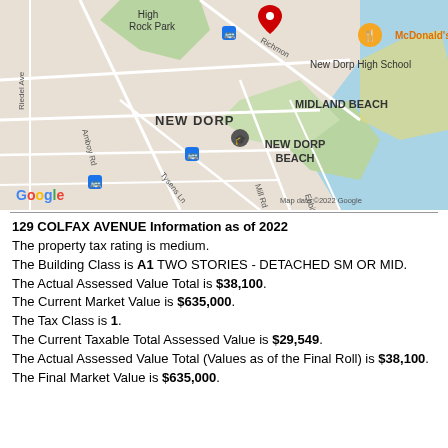[Figure (map): Google Maps screenshot showing New Dorp, Midland Beach, New Dorp Beach area in Staten Island, NY. Shows High Rock Park, New Dorp High School, McDonald's, street names including Riedel Ave, Amboy Rd, Tysens Ln, Mill Rd, Ebbitts St. Red pin marker visible. Map data ©2022 Google.]
129 COLFAX AVENUE Information as of 2022
The property tax rating is medium.
The Building Class is A1 TWO STORIES - DETACHED SM OR MID.
The Actual Assessed Value Total is $38,100.
The Current Market Value is $635,000.
The Tax Class is 1.
The Current Taxable Total Assessed Value is $29,549.
The Actual Assessed Value Total (Values as of the Final Roll) is $38,100.
The Final Market Value is $635,000.